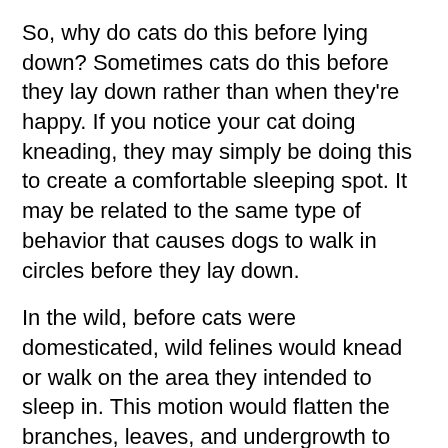So, why do cats do this before lying down? Sometimes cats do this before they lay down rather than when they're happy. If you notice your cat doing kneading, they may simply be doing this to create a comfortable sleeping spot. It may be related to the same type of behavior that causes dogs to walk in circles before they lay down.
In the wild, before cats were domesticated, wild felines would knead or walk on the area they intended to sleep in. This motion would flatten the branches, leaves, and undergrowth to give them a more comfortable spot to sleep.
Kneading while they stretch
Sometimes your cat kneads and stretches at the same time. This may simply be a way to wake up and get their muscles loose after a nap. It's similar to the way you stretch when you first wake up in the